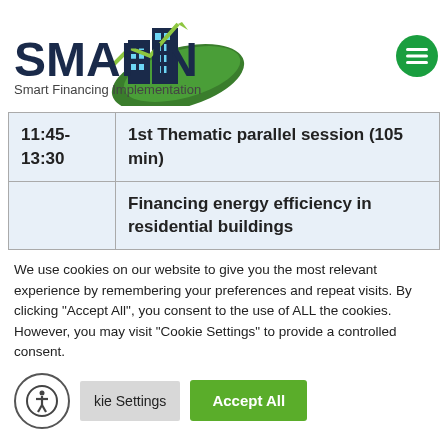[Figure (logo): SMAFIN logo with green leaf, building icons, and upward arrow. Text: SMAFIN Smart Financing Implementation]
| Time | Session |
| --- | --- |
| 11:45-13:30 | 1st Thematic parallel session (105 min) |
|  | Financing energy efficiency in residential buildings |
We use cookies on our website to give you the most relevant experience by remembering your preferences and repeat visits. By clicking "Accept All", you consent to the use of ALL the cookies. However, you may visit "Cookie Settings" to provide a controlled consent.